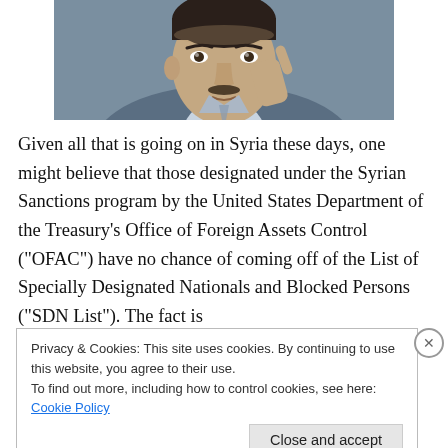[Figure (photo): Close-up photo of a man in a suit with his hand raised near his chin in a thoughtful pose, appears to be Bashar al-Assad]
Given all that is going on in Syria these days, one might believe that those designated under the Syrian Sanctions program by the United States Department of the Treasury’s Office of Foreign Assets Control (“OFAC”) have no chance of coming off of the List of Specially Designated Nationals and Blocked Persons (“SDN List”). The fact is
Privacy & Cookies: This site uses cookies. By continuing to use this website, you agree to their use.
To find out more, including how to control cookies, see here: Cookie Policy
Close and accept